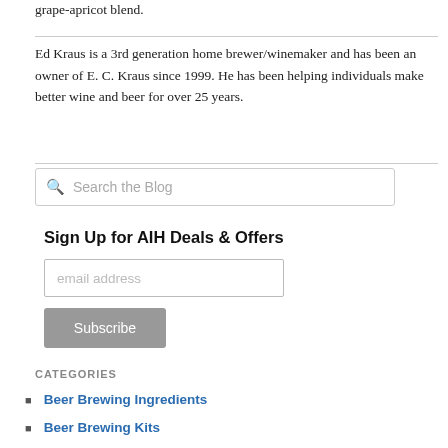grape-apricot blend.
Ed Kraus is a 3rd generation home brewer/winemaker and has been an owner of E. C. Kraus since 1999. He has been helping individuals make better wine and beer for over 25 years.
Search the Blog
Sign Up for AIH Deals & Offers
email address
Subscribe
CATEGORIES
Beer Brewing Ingredients
Beer Brewing Kits